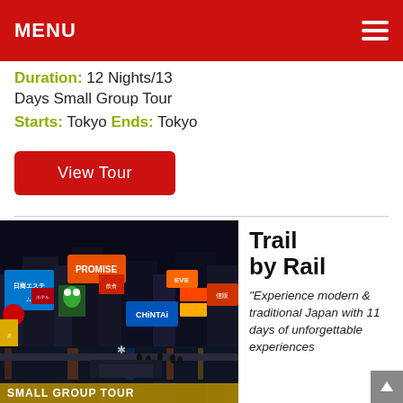MENU
Duration: 12 Nights/13 Days Small Group Tour
Starts: Tokyo  Ends: Tokyo
View Tour
[Figure (photo): Night photo of Dotonbori, Osaka, Japan — colorful illuminated neon signs over a canal with crowds of people. Signs include CHINTAI, PROMISE, and other Japanese commercial advertisements. A 'SMALL GROUP TOUR' banner appears at the bottom.]
Trail by Rail
“Experience modern & traditional Japan with 11 days of unforgettable experiences